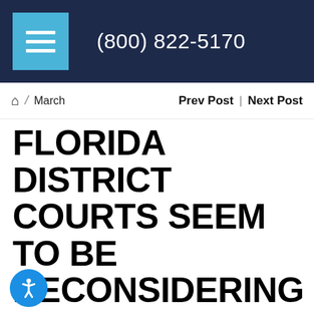(800) 822-5170
⌂ / March    Prev Post | Next Post
FLORIDA DISTRICT COURTS SEEM TO BE RECONSIDERING THE REHEARING RULE IN FLORIDA ALIMONY CASES